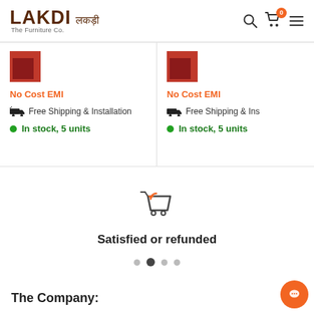LAKDI लकड़ी - The Furniture Co.
No Cost EMI
Free Shipping & Installation
In stock, 5 units
No Cost EMI
Free Shipping & Ins
In stock, 5 units
[Figure (illustration): Shopping cart with return arrow icon for Satisfied or refunded section]
Satisfied or refunded
The Company: